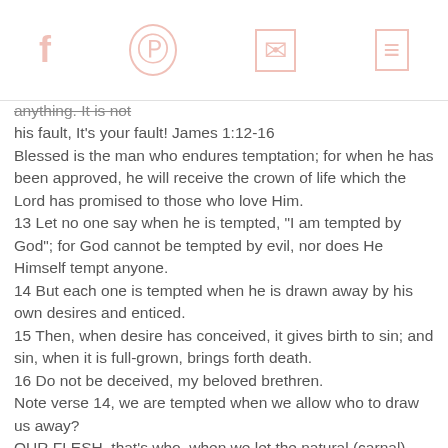[social sharing icons: Facebook, Pinterest, Email, Comment]
anything. It is not his fault, It's your fault! James 1:12-16 Blessed is the man who endures temptation; for when he has been approved, he will receive the crown of life which the Lord has promised to those who love Him. 13 Let no one say when he is tempted, "I am tempted by God"; for God cannot be tempted by evil, nor does He Himself tempt anyone. 14 But each one is tempted when he is drawn away by his own desires and enticed. 15 Then, when desire has conceived, it gives birth to sin; and sin, when it is full-grown, brings forth death. 16 Do not be deceived, my beloved brethren. Note verse 14, we are tempted when we allow who to draw us away? OUR FLESH, that's who, when we let the natural (carnal) man